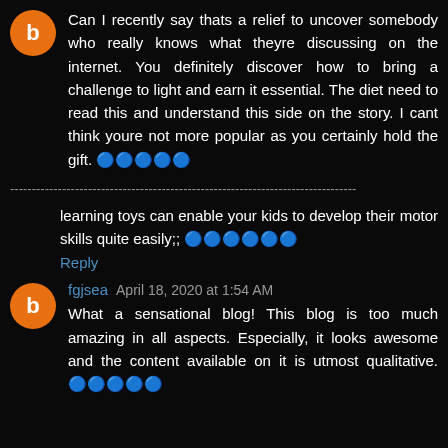Can I recently say thats a relief to uncover somebody who really knows what theyre discussing on the internet. You definitely discover how to bring a challenge to light and earn it essential. The diet need to read this and understand this side on the story. I cant think youre not more popular as you certainly hold the gift. 🔵🔵🔵🔵🔵
--------------------------------------------------------------------------------
learning toys can enable your kids to develop their motor skills quite easily;; 🔵🔵🔵🔵🔵🔵
Reply
fgjsea April 18, 2020 at 1:54 AM
What a sensational blog! This blog is too much amazing in all aspects. Especially, it looks awesome and the content available on it is utmost qualitative. 🔵🔵🔵🔵🔵